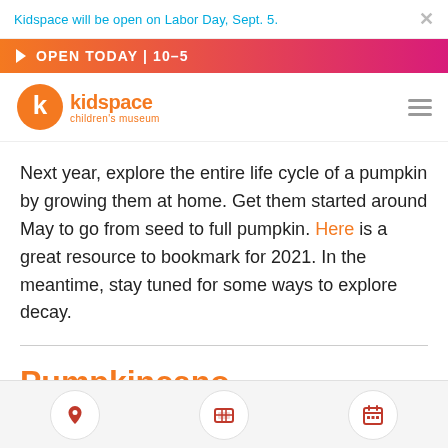Kidspace will be open on Labor Day, Sept. 5.
OPEN TODAY | 10–5
[Figure (logo): Kidspace Children's Museum logo with orange circle containing a white 'k', and orange text 'kidspace children's museum']
Next year, explore the entire life cycle of a pumpkin by growing them at home. Get them started around May to go from seed to full pumpkin. Here is a great resource to bookmark for 2021. In the meantime, stay tuned for some ways to explore decay.
Pumpkincano
Have a blast creating a Pumpkincano, a